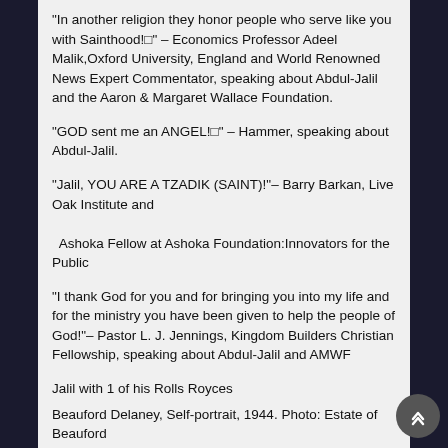“In another religion they honor people who serve like you with Sainthood!□” – Economics Professor Adeel Malik,Oxford University, England and World Renowned News Expert Commentator, speaking about Abdul-Jalil and the Aaron & Margaret Wallace Foundation.
“GOD sent me an ANGEL!□” – Hammer, speaking about Abdul-Jalil.
“Jalil, YOU ARE A TZADIK (SAINT)!”– Barry Barkan, Live Oak Institute and

  Ashoka Fellow at Ashoka Foundation:Innovators for the Public
“I thank God for you and for bringing you into my life and for the ministry you have been given to help the people of God!”– Pastor L. J. Jennings, Kingdom Builders Christian Fellowship, speaking about Abdul-Jalil and AMWF
Jalil with 1 of his Rolls Royces
Beauford Delaney, Self-portrait, 1944. Photo: Estate of Beauford